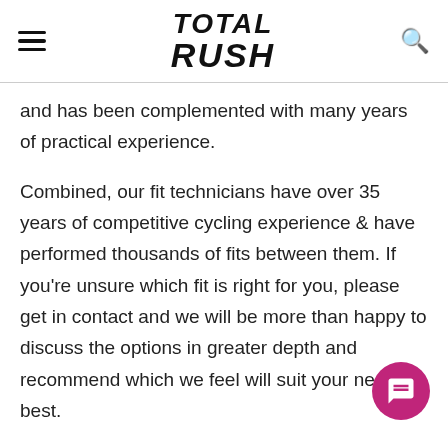TOTAL RUSH
and has been complemented with many years of practical experience.
Combined, our fit technicians have over 35 years of competitive cycling experience & have performed thousands of fits between them. If you're unsure which fit is right for you, please get in contact and we will be more than happy to discuss the options in greater depth and recommend which we feel will suit your needs best.
Have questions? Send us an e-mail -
info@totalrush.com.au